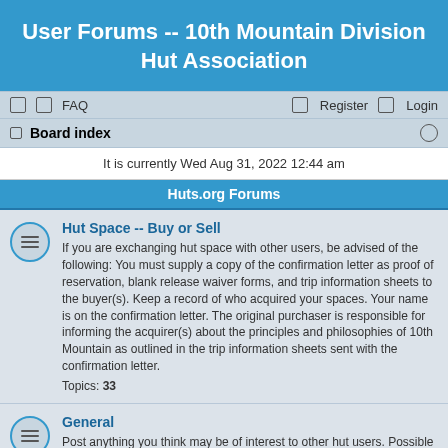User Forums -- 10th Mountain Division Hut Association
FAQ  Register  Login
Board index
It is currently Wed Aug 31, 2022 12:44 am
Huts.org Forums
Hut Space -- Buy or Sell
If you are exchanging hut space with other users, be advised of the following: You must supply a copy of the confirmation letter as proof of reservation, blank release waiver forms, and trip information sheets to the buyer(s). Keep a record of who acquired your spaces. Your name is on the confirmation letter. The original purchaser is responsible for informing the acquirer(s) about the principles and philosophies of 10th Mountain as outlined in the trip information sheets sent with the confirmation letter.
Topics: 33
General
Post anything you think may be of interest to other hut users. Possible postings could include: Gear for Sale, Gear Wanted, Ride Exchange, Travel/Ski partners, Announcements about Avalanche or Backcountry Courses, Suggestions, Presentations or Slide Shows, Backcountry Tips, and Lost & Found. Please avoid profanity and heavy politcial polemics.
Topics: 13
Trail & Road Conditions
Share route and backcountry conditions at the huts during both summer and